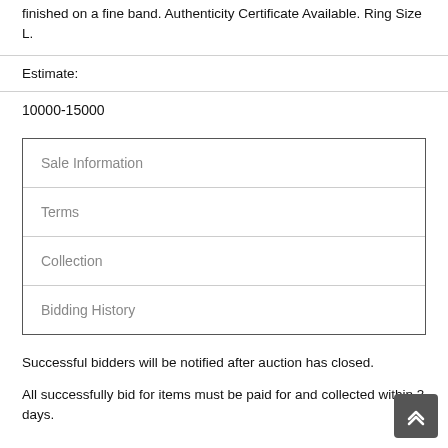finished on a fine band. Authenticity Certificate Available. Ring Size L.
Estimate:
10000-15000
| Sale Information |
| Terms |
| Collection |
| Bidding History |
Successful bidders will be notified after auction has closed.
All successfully bid for items must be paid for and collected within 3 days.